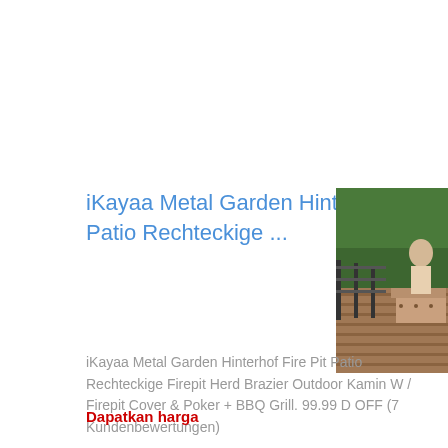iKayaa Metal Garden Hinterhof Fire Pit Patio Rechteckige ...
[Figure (photo): Partial product photo of a garden/patio area with wooden decking and metal railing, outdoor setting]
iKayaa Metal Garden Hinterhof Fire Pit Patio Rechteckige Firepit Herd Brazier Outdoor Kamin W / Firepit Cover & Poker + BBQ Grill. 99.99 D OFF (7 Kundenbewertungen)
Dapatkan harga